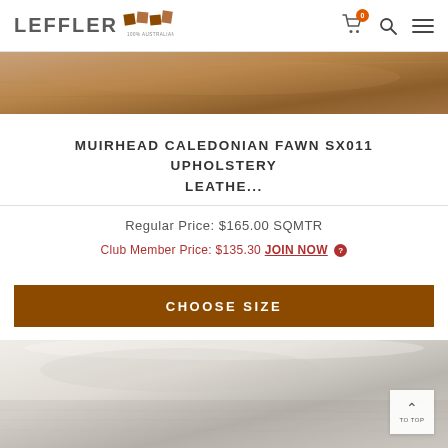LEFFLER 100% AUSTRALIAN OWNED
[Figure (photo): Close-up of fawn/tan leather texture, warm brown tones]
MUIRHEAD CALEDONIAN FAWN SX011 UPHOLSTERY LEATHE...
Regular Price: $165.00 SQMTR
Club Member Price: $135.30 JOIN NOW ?
CHOOSE SIZE
[Figure (photo): Rolled/folded light grey upholstery leather showing texture and backing]
TO TOP